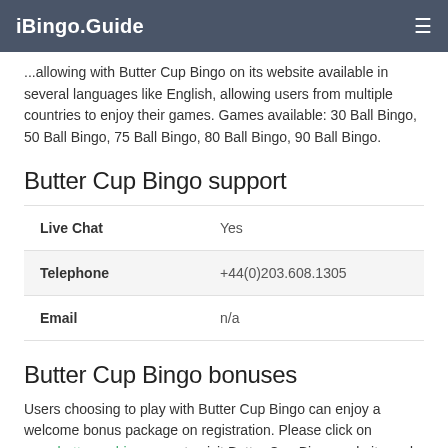iBingo.Guide
...allowing with Butter Cup Bingo on its website available in several languages like English, allowing users from multiple countries to enjoy their games. Games available: 30 Ball Bingo, 50 Ball Bingo, 75 Ball Bingo, 80 Ball Bingo, 90 Ball Bingo.
Butter Cup Bingo support
|  |  |
| --- | --- |
| Live Chat | Yes |
| Telephone | +44(0)203.608.1305 |
| Email | n/a |
Butter Cup Bingo bonuses
Users choosing to play with Butter Cup Bingo can enjoy a welcome bonus package on registration. Please click on www.buttercupbingo.com to visit Butter Cup Bingo website and check the latest bonus available and bingo promotions. For the